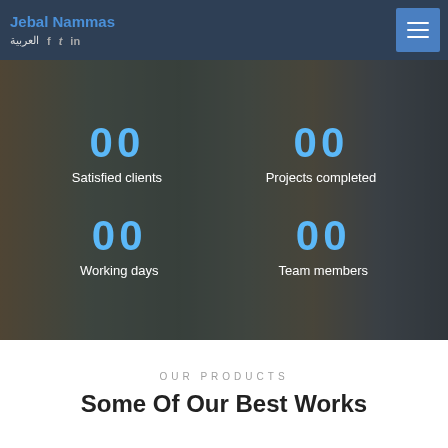Jebal Nammas | العربية | Facebook | Twitter | LinkedIn
[Figure (photo): Group of five construction workers (some in hi-viz vests, one in pink hard hat) standing together smiling, with a dark overlay. Four counter stats overlaid: '00 Satisfied clients', '00 Projects completed', '00 Working days', '00 Team members']
00 Satisfied clients
00 Projects completed
00 Working days
00 Team members
OUR PRODUCTS
Some Of Our Best Works